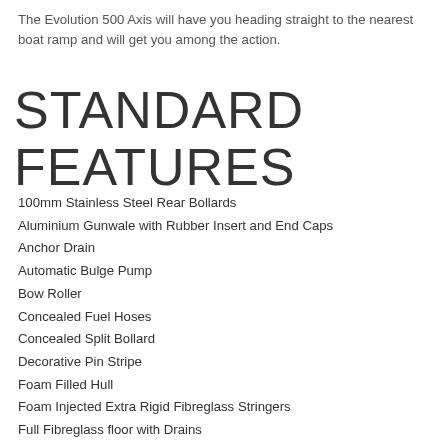The Evolution 500 Axis will have you heading straight to the nearest boat ramp and will get you among the action.
STANDARD FEATURES
100mm Stainless Steel Rear Bollards
Aluminium Gunwale with Rubber Insert and End Caps
Anchor Drain
Automatic Bulge Pump
Bow Roller
Concealed Fuel Hoses
Concealed Split Bollard
Decorative Pin Stripe
Foam Filled Hull
Foam Injected Extra Rigid Fibreglass Stringers
Full Fibreglass floor with Drains
Full length Side Pockets